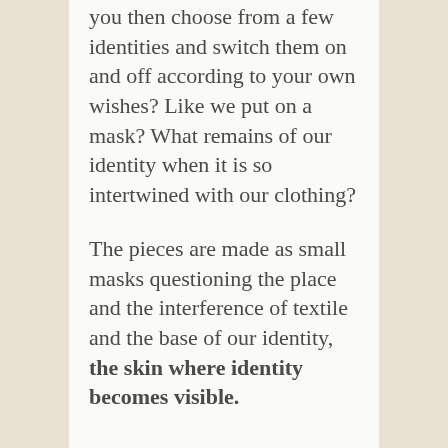you then choose from a few identities and switch them on and off according to your own wishes? Like we put on a mask? What remains of our identity when it is so intertwined with our clothing?
The pieces are made as small masks questioning the place and the interference of textile and the base of our identity, the skin where identity becomes visible.
12 NOVEMBER 2019 BY ELWY
GEEN CATEGORIE, PORTFOLIO